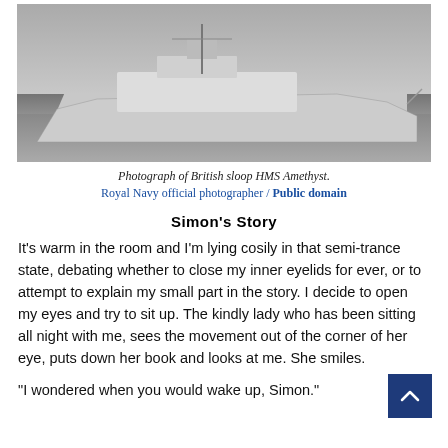[Figure (photo): Black and white photograph of British sloop HMS Amethyst, a naval vessel shown at sea with camouflage paint.]
Photograph of British sloop HMS Amethyst.
Royal Navy official photographer / Public domain
Simon's Story
It's warm in the room and I'm lying cosily in that semi-trance state, debating whether to close my inner eyelids for ever, or to attempt to explain my small part in the story. I decide to open my eyes and try to sit up. The kindly lady who has been sitting all night with me, sees the movement out of the corner of her eye, puts down her book and looks at me. She smiles.
"I wondered when you would wake up, Simon."